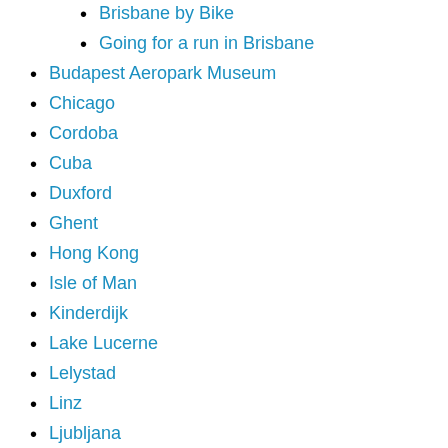Brisbane by Bike
Going for a run in Brisbane
Budapest Aeropark Museum
Chicago
Cordoba
Cuba
Duxford
Ghent
Hong Kong
Isle of Man
Kinderdijk
Lake Lucerne
Lelystad
Linz
Ljubljana
London
Regent's Park & Camden